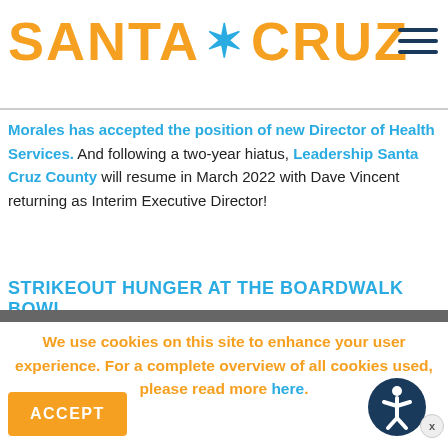[Figure (logo): Santa Cruz city logo with orange text SANTA CRUZ and a teal/blue star asterisk between the words]
Morales has accepted the position of new Director of Health Services. And following a two-year hiatus, Leadership Santa Cruz County will resume in March 2022 with Dave Vincent returning as Interim Executive Director!
STRIKEOUT HUNGER AT THE BOARDWALK BOWL
We use cookies on this site to enhance your user experience. For a complete overview of all cookies used, please read more here.
ACCEPT